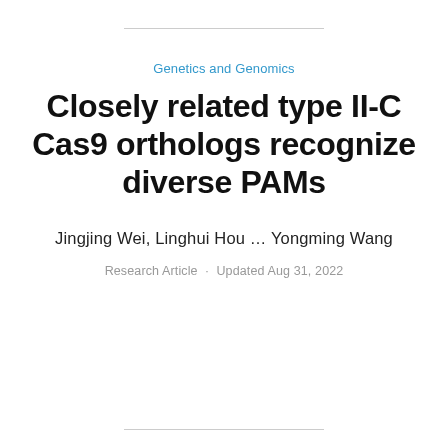Genetics and Genomics
Closely related type II-C Cas9 orthologs recognize diverse PAMs
Jingjing Wei, Linghui Hou ... Yongming Wang
Research Article · Updated Aug 31, 2022